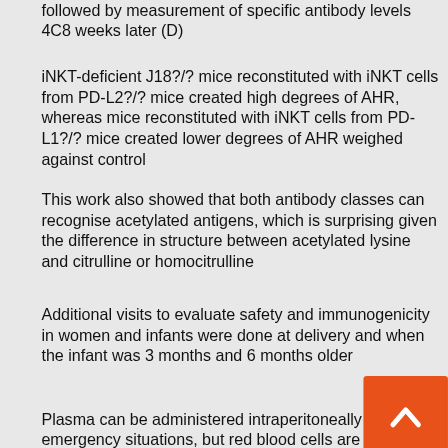followed by measurement of specific antibody levels 4C8 weeks later (D)
iNKT-deficient J18?/? mice reconstituted with iNKT cells from PD-L2?/? mice created high degrees of AHR, whereas mice reconstituted with iNKT cells from PD-L1?/? mice created lower degrees of AHR weighed against control
This work also showed that both antibody classes can recognise acetylated antigens, which is surprising given the difference in structure between acetylated lysine and citrulline or homocitrulline
Additional visits to evaluate safety and immunogenicity in women and infants were done at delivery and when the infant was 3 months and 6 months older
Plasma can be administered intraperitoneally in emergency situations, but red blood cells are